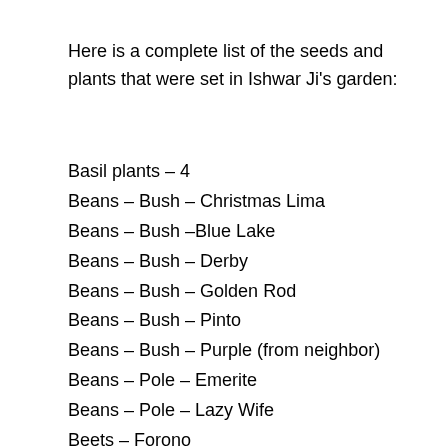Here is a complete list of the seeds and plants that were set in Ishwar Ji's garden:
Basil plants – 4
Beans – Bush – Christmas Lima
Beans – Bush –Blue Lake
Beans – Bush – Derby
Beans – Bush – Golden Rod
Beans – Bush – Pinto
Beans – Bush – Purple (from neighbor)
Beans – Pole – Emerite
Beans – Pole – Lazy Wife
Beets – Forono